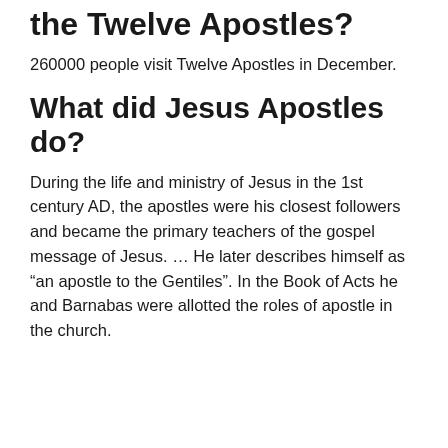the Twelve Apostles?
260000 people visit Twelve Apostles in December.
What did Jesus Apostles do?
During the life and ministry of Jesus in the 1st century AD, the apostles were his closest followers and became the primary teachers of the gospel message of Jesus. … He later describes himself as “an apostle to the Gentiles”. In the Book of Acts he and Barnabas were allotted the roles of apostle in the church.